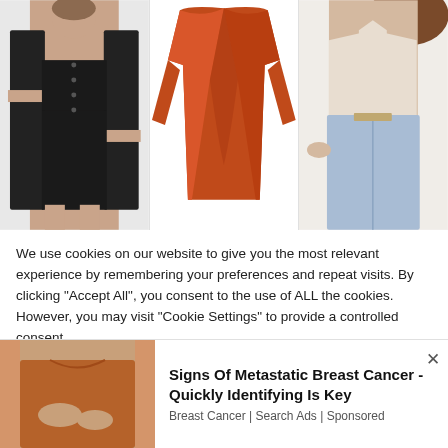[Figure (photo): Three fashion product photos side by side: left shows a woman in a black long cardigan with black crop top and skirt; center shows an orange/rust draped open-front cardigan on white background; right shows a partial view of a woman wearing a beige halter top and light blue high-waist jeans.]
We use cookies on our website to give you the most relevant experience by remembering your preferences and repeat visits. By clicking "Accept All", you consent to the use of ALL the cookies. However, you may visit "Cookie Settings" to provide a controlled consent.
[Figure (photo): Bottom-left: partial view of a woman wearing a rust/caramel colored fitted top, shown from shoulders to waist.]
Signs Of Metastatic Breast Cancer - Quickly Identifying Is Key
Breast Cancer | Search Ads | Sponsored